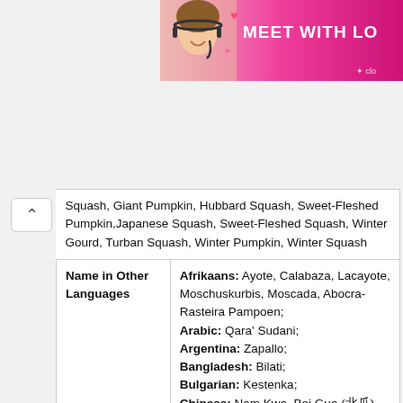[Figure (photo): Advertisement banner with photo of a woman with headset and text 'MEET WITH LO...' on pink gradient background with heart emojis]
| [truncated: Squash, Giant Pumpkin, Hubbard Squash, Sweet-Fleshed Pumpkin, Japanese Squash, Sweet-Fleshed Squash, Winter Gourd, Turban Squash, Winter Pumpkin, Winter Squash] |  |
| Name in Other Languages | Afrikaans: Ayote, Calabaza, Lacayote, Moschuskurbis, Moscada, Abocra-Rasteira Pampoen; Arabic: Qara' Sudani; Argentina: Zapallo; Bangladesh: Bilati; Bulgarian: Kestenka; Chinese: Nam Kwa, Bei Gua (北瓜), Fan Kwa, Sun Gua (孫瓜), Fan Nan Gua (), Yin Du Nan Gua, Yang Gua, Yu Gua, Jiǎo sīguā (角絲瓜), Fàn guā (飯瓜); Czech: Tykev Velkoplodá, Dýně Obrovská; Danish: Centnergrćskar; Dutch: Pompoen, Reuzenpompoen, Ronde Pompoen, Reuzenkalebas; Eastonian: Suureviljaline Kõrvits; |